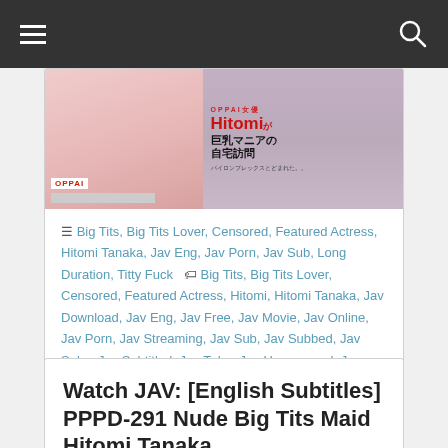Navigation bar with hamburger menu and search icon
[Figure (photo): OPPAI DVD cover image showing Japanese adult video product with Japanese text reading 'Hitomiが巨乳マニアの自宅訪問']
Big Tits, Big Tits Lover, Censored, Featured Actress, Hitomi Tanaka, Jav Eng, Jav Porn, Jav Sub, Long Duration, Titty Fuck  Big Tits, Big Tits Lover, Censored, Featured Actress, Hitomi, Hitomi Tanaka, Jav Download, Jav Eng, Jav Free, Jav Movie, Jav Online, Jav Porn, Jav Streaming, Jav Sub, Jav Subbed, Jav Subs, Jav Subtitled, Jav Tube, Jav Uncensored, Jav Watch, Long Duration, Titty Fuck
Watch JAV: [English Subtitles] PPPD-291 Nude Big Tits Maid Hitomi Tanaka